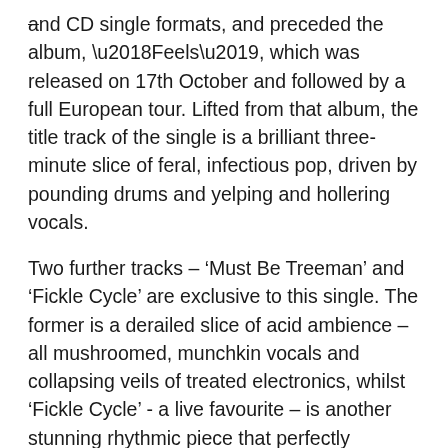and CD single formats, and preceded the album, ‘Feels’, which was released on 17th October and followed by a full European tour. Lifted from that album, the title track of the single is a brilliant three-minute slice of feral, infectious pop, driven by pounding drums and yelping and hollering vocals.
Two further tracks – ‘Must Be Treeman’ and ‘Fickle Cycle’ are exclusive to this single. The former is a derailed slice of acid ambience – all mushroomed, munchkin vocals and collapsing veils of treated electronics, whilst ‘Fickle Cycle’ - a live favourite – is another stunning rhythmic piece that perfectly complements ‘Grass’, making this an incredibly strong single.
When ‘Grass’ is released...